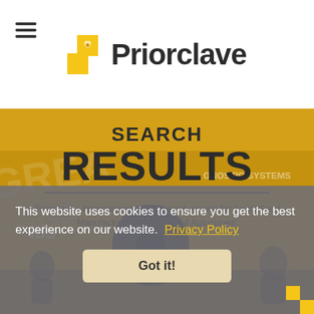[Figure (logo): Priorclave logo with yellow squares and company name]
SEARCH RESULTS
Priorclave - International (en) / Search results for 'Local Food Manufacturers Make Use of Autoclaves'
This website uses cookies to ensure you get the best experience on our website. Privacy Policy
Got it!